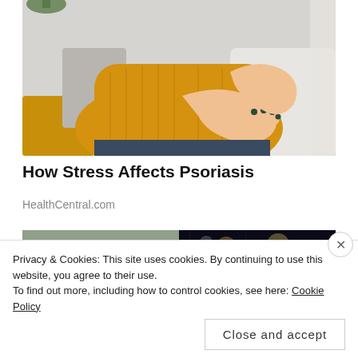[Figure (photo): Woman in a yellow/mustard knit sweater sitting on a couch, scratching or holding her elbow/arm, suggesting a skin condition like psoriasis.]
How Stress Affects Psoriasis
HealthCentral.com
[Figure (photo): Partial view of two images side by side: left shows a bicycle/urban scene, right shows a night scene with bokeh lights.]
Privacy & Cookies: This site uses cookies. By continuing to use this website, you agree to their use.
To find out more, including how to control cookies, see here: Cookie Policy
Close and accept